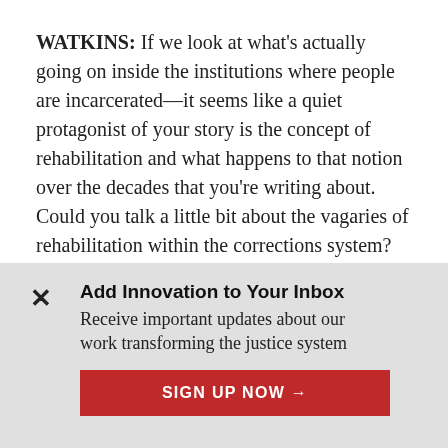WATKINS: If we look at what's actually going on inside the institutions where people are incarcerated—it seems like a quiet protagonist of your story is the concept of rehabilitation and what happens to that notion over the decades that you're writing about. Could you talk a little bit about the vagaries of rehabilitation within the corrections system? Again, how this is just leading to irrational, counterproductive outcomes where we're just...
Add Innovation to Your Inbox
Receive important updates about our work transforming the justice system
SIGN UP NOW →